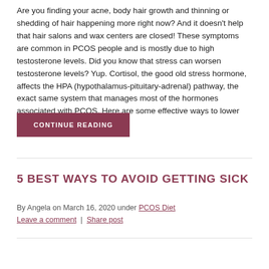Are you finding your acne, body hair growth and thinning or shedding of hair happening more right now? And it doesn't help that hair salons and wax centers are closed! These symptoms are common in PCOS people and is mostly due to high testosterone levels. Did you know that stress can worsen testosterone levels? Yup. Cortisol, the good old stress hormone, affects the HPA (hypothalamus-pituitary-adrenal) pathway, the exact same system that manages most of the hormones associated with PCOS. Here are some effective ways to lower testosterone.
CONTINUE READING
5 BEST WAYS TO AVOID GETTING SICK
By Angela on March 16, 2020 under PCOS Diet
Leave a comment | Share post